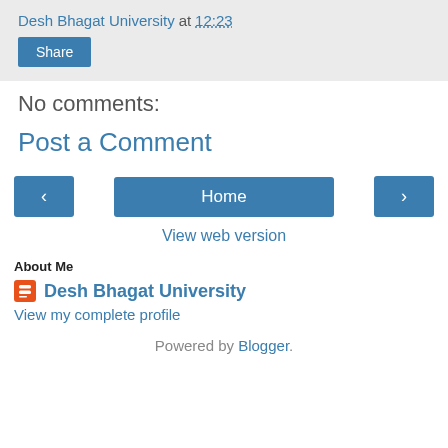Desh Bhagat University at 12:23
Share
No comments:
Post a Comment
‹ Home ›
View web version
About Me
Desh Bhagat University
View my complete profile
Powered by Blogger.